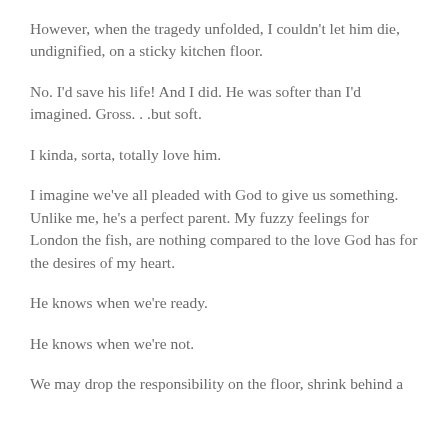However, when the tragedy unfolded, I couldn't let him die, undignified, on a sticky kitchen floor.
No. I'd save his life! And I did. He was softer than I'd imagined. Gross. . .but soft.
I kinda, sorta, totally love him.
I imagine we've all pleaded with God to give us something. Unlike me, he's a perfect parent. My fuzzy feelings for London the fish, are nothing compared to the love God has for the desires of my heart.
He knows when we're ready.
He knows when we're not.
We may drop the responsibility on the floor, shrink behind a